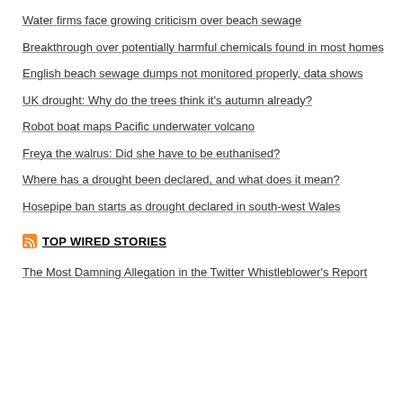Water firms face growing criticism over beach sewage
Breakthrough over potentially harmful chemicals found in most homes
English beach sewage dumps not monitored properly, data shows
UK drought: Why do the trees think it's autumn already?
Robot boat maps Pacific underwater volcano
Freya the walrus: Did she have to be euthanised?
Where has a drought been declared, and what does it mean?
Hosepipe ban starts as drought declared in south-west Wales
TOP WIRED STORIES
The Most Damning Allegation in the Twitter Whistleblower's Report